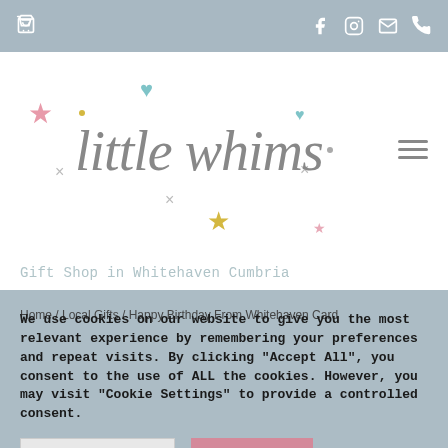Navigation bar with cart icon, Facebook, Instagram, email, and phone icons
[Figure (logo): Little Whims logo in cursive/script font with decorative stars, hearts, and x marks in pink, teal, and yellow]
Gift Shop in Whitehaven Cumbria
Home / Local Gifts / Happy Birthday From Whitehaven Card
We use cookies on our website to give you the most relevant experience by remembering your preferences and repeat visits. By clicking "Accept All", you consent to the use of ALL the cookies. However, you may visit "Cookie Settings" to provide a controlled consent.
Cookie Settings
Accept All